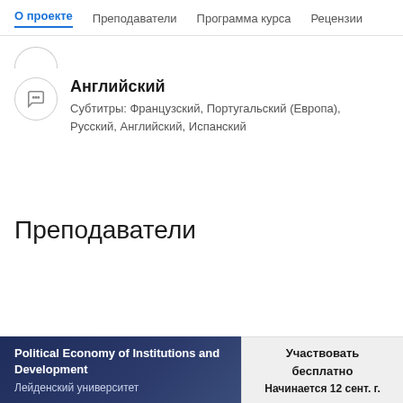О проекте  Преподаватели  Программа курса  Рецензии
Английский
Субтитры: Французский, Португальский (Европа), Русский, Английский, Испанский
Преподаватели
Political Economy of Institutions and Development
Лейденский университет
Участвовать бесплатно
Начинается 12 сент. г.